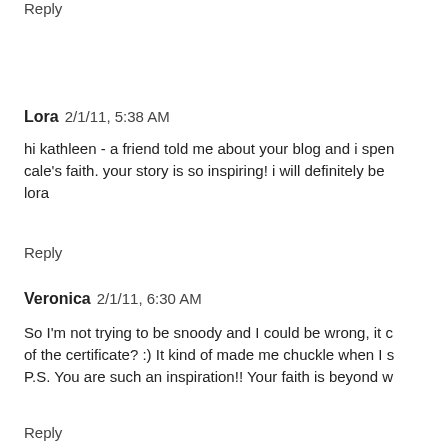Reply
Lora  2/1/11, 5:38 AM
hi kathleen - a friend told me about your blog and i spent time today catching up on cale's faith. your story is so inspiring! i will definitely be praying for your family!
lora
Reply
Veronica  2/1/11, 6:30 AM
So I'm not trying to be snoody and I could be wrong, it could be on the back of the certificate? :) It kind of made me chuckle when I saw it.
P.S. You are such an inspiration!! Your faith is beyond wo
Reply
Anonymous  2/1/11, 7:18 AM
Ditto Veronica's thoughts that the congressman signed the certificate.
As for that heart for others, yes, I believe you've always had it even when you can become overwhelmed. Just know that there are